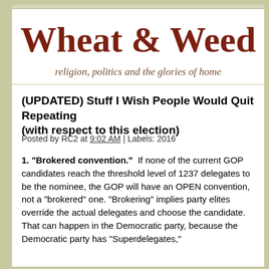Wheat & Weed
religion, politics and the glories of home
(UPDATED) Stuff I Wish People Would Quit Repeating (with respect to this election)
Posted by RC2 at 9:02 AM | Labels: 2016
1. "Brokered convention."  If none of the current GOP candidates reach the threshold level of 1237 delegates to be the nominee, the GOP will have an OPEN convention, not a "brokered" one. "Brokering" implies party elites override the actual delegates and choose the candidate. That can happen in the Democratic party, because the Democratic party has "Superdelegates," who are 15% of the delegates. The superdelegates in the D...